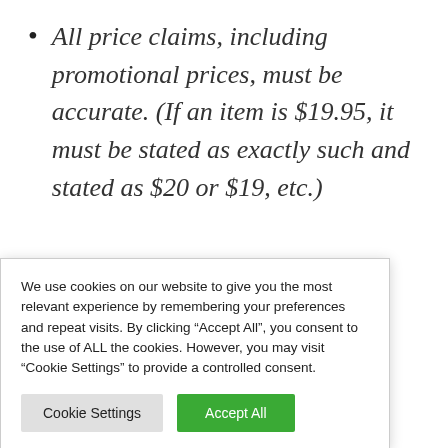All price claims, including promotional prices, must be accurate. (If an item is $19.95, it must be stated as exactly such and stated as $20 or $19, etc.)
...onal prices, ...gs claims or ...mple, ...say: “This ...s low price ...ice on the ...ice”, “The
We use cookies on our website to give you the most relevant experience by remembering your preferences and repeat visits. By clicking “Accept All”, you consent to the use of ALL the cookies. However, you may visit “Cookie Settings” to provide a controlled consent.